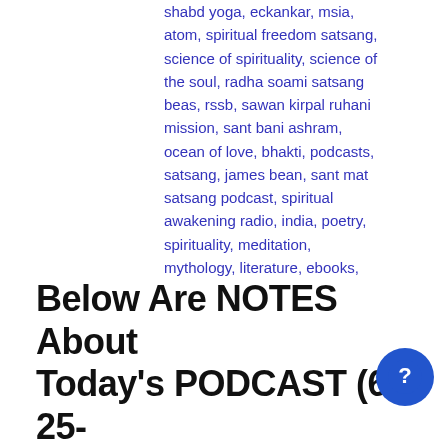shabd yoga, eckankar, msia, atom, spiritual freedom satsang, science of spirituality, science of the soul, radha soami satsang beas, rssb, sawan kirpal ruhani mission, sant bani ashram, ocean of love, bhakti, podcasts, satsang, james bean, sant mat satsang podcast, spiritual awakening radio, india, poetry, spirituality, meditation, mythology, literature, ebooks, spiritual classics, spiritual talks, initiation, deeksha, diksha, guru kabir, aarti, Chowka, chauka
Language
English
Below Are NOTES About Today's PODCAST (6-25-